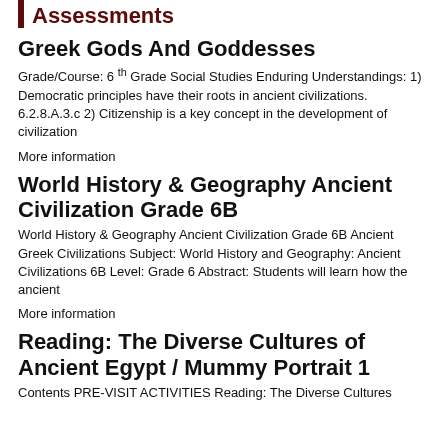Assessments
Greek Gods And Goddesses
Grade/Course: 6 th Grade Social Studies Enduring Understandings: 1) Democratic principles have their roots in ancient civilizations. 6.2.8.A.3.c 2) Citizenship is a key concept in the development of civilization
More information
World History & Geography Ancient Civilization Grade 6B
World History & Geography Ancient Civilization Grade 6B Ancient Greek Civilizations Subject: World History and Geography: Ancient Civilizations 6B Level: Grade 6 Abstract: Students will learn how the ancient
More information
Reading: The Diverse Cultures of Ancient Egypt / Mummy Portrait 1
Contents PRE-VISIT ACTIVITIES Reading: The Diverse Cultures